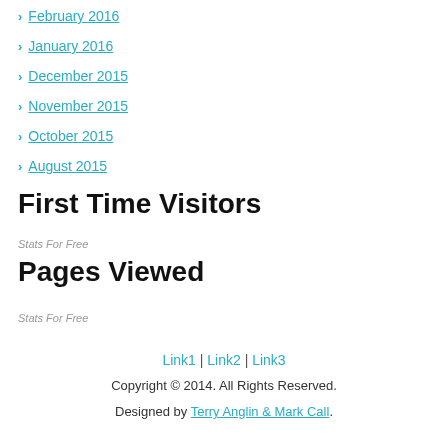February 2016
January 2016
December 2015
November 2015
October 2015
August 2015
First Time Visitors
Stats For Free
Pages Viewed
Stats For Free
Link1 | Link2 | Link3
Copyright © 2014. All Rights Reserved.
Designed by Terry Anglin & Mark Call.